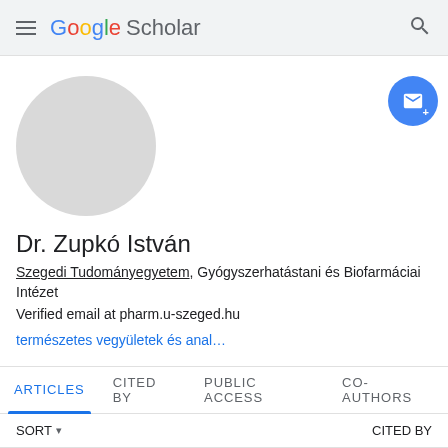Google Scholar
[Figure (photo): Circular grey placeholder avatar image]
[Figure (other): Blue circular follow/email button with envelope icon and plus sign]
Dr. Zupkó István
Szegedi Tudományegyetem, Gyógyszerhatástani és Biofarmáciai Intézet
Verified email at pharm.u-szeged.hu
természetes vegyületek és anal…
ARTICLES  CITED BY  PUBLIC ACCESS  CO-AUTHORS
SORT ▾  CITED BY
Protective effects of the active ingredients of Salvia...